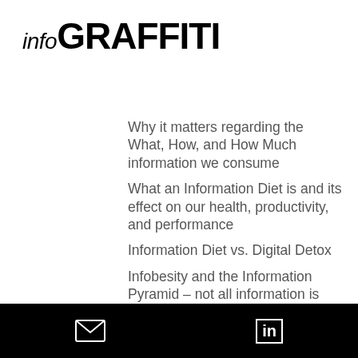infoGRAFFITI
Why it matters regarding the What, How, and How Much information we consume
What an Information Diet is and its effect on our health, productivity, and performance
Information Diet vs. Digital Detox
Infobesity and the Information Pyramid – not all information is created equal
How to decode and create your own information diet that fits you and your needs
Practical tips and tools – and a workbook – for a healthy Information Diet
Reserve your spot today! To make this engaging, take the Info Diet Questionnaire in advance and check if you might be suffering
email icon | LinkedIn icon